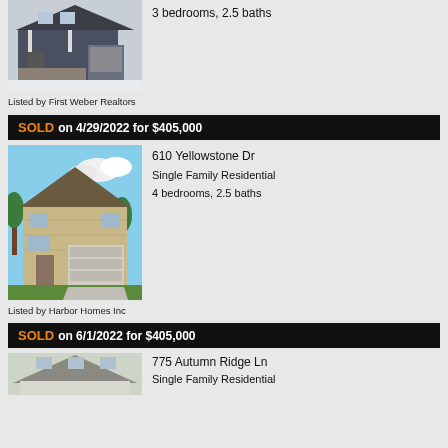[Figure (photo): Two-story house with dark siding, white trim, covered porch, and two-car garage; snow on ground]
3 bedrooms, 2.5 baths
Listed by First Weber Realtors
SOLD on 4/29/2022 for $405,000
610 Yellowstone Dr
Single Family Residential
4 bedrooms, 2.5 baths
[Figure (photo): Two-story house with tan/beige siding, brown roof, two-car garage, landscaping; rendered illustration style]
Listed by Harbor Homes Inc
SOLD on 6/1/2022 for $405,000
775 Autumn Ridge Ln
Single Family Residential